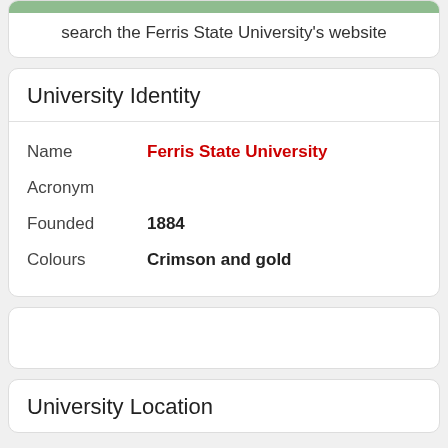search the Ferris State University's website
University Identity
| Field | Value |
| --- | --- |
| Name | Ferris State University |
| Acronym |  |
| Founded | 1884 |
| Colours | Crimson and gold |
University Location